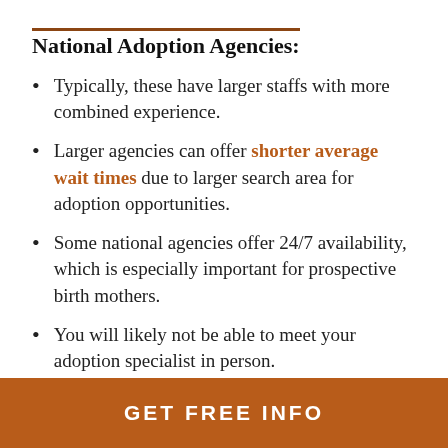National Adoption Agencies:
Typically, these have larger staffs with more combined experience.
Larger agencies can offer shorter average wait times due to larger search area for adoption opportunities.
Some national agencies offer 24/7 availability, which is especially important for prospective birth mothers.
You will likely not be able to meet your adoption specialist in person.
Travel for placement is more likely.
GET FREE INFO